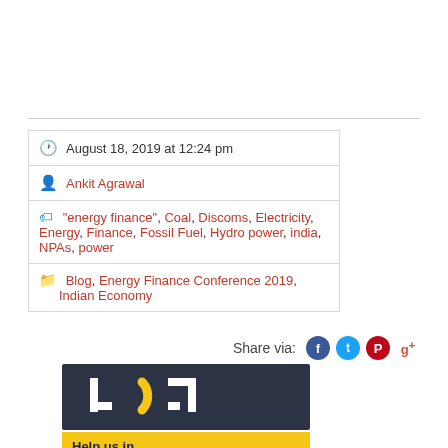August 18, 2019 at 12:24 pm
Ankit Agrawal
"energy finance", Coal, Discoms, Electricity, Energy, Finance, Fossil Fuel, Hydro power, india, NPAs, power
Blog, Energy Finance Conference 2019, Indian Economy
Share via:
[Figure (logo): Organization logo with white geometric shapes and yellow arc on dark navy background]
Help us in